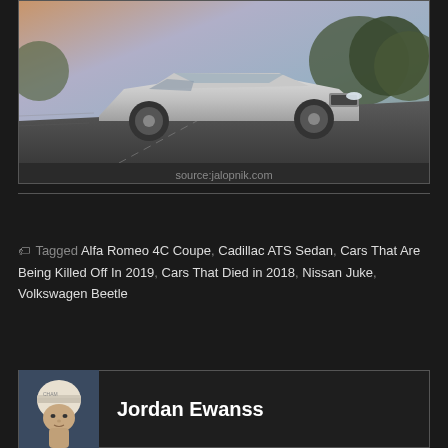[Figure (photo): Silver Lincoln MKX SUV driving on a road with blurred background, motion photography style. Source: jalopnik.com]
source:jalopnik.com
Tagged Alfa Romeo 4C Coupe, Cadillac ATS Sedan, Cars That Are Being Killed Off In 2019, Cars That Died in 2018, Nissan Juke, Volkswagen Beetle
[Figure (photo): Profile photo of author Jordan Ewanss wearing a racing helmet]
Jordan Ewanss